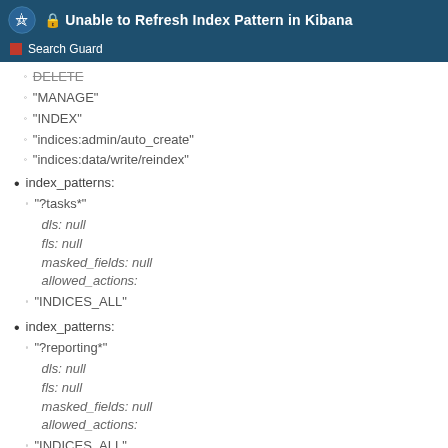Unable to Refresh Index Pattern in Kibana — Search Guard
DELETE (strikethrough)
"MANAGE"
"INDEX"
"indices:admin/auto_create"
"indices:data/write/reindex"
index_patterns:
"?tasks*"
dls: null
fls: null
masked_fields: null
allowed_actions:
"INDICES_ALL"
index_patterns:
"?reporting*"
dls: null
fls: null
masked_fields: null
allowed_actions:
"INDICES_ALL"
"indices:admin/auto_create"
"indices:data/read/get"
6 / 8